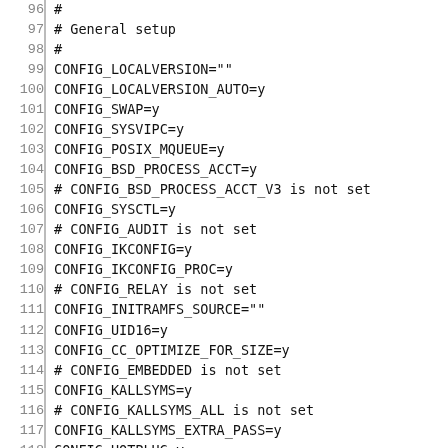96 | #
97 | # General setup
98 | #
99 | CONFIG_LOCALVERSION=""
100 | CONFIG_LOCALVERSION_AUTO=y
101 | CONFIG_SWAP=y
102 | CONFIG_SYSVIPC=y
103 | CONFIG_POSIX_MQUEUE=y
104 | CONFIG_BSD_PROCESS_ACCT=y
105 | # CONFIG_BSD_PROCESS_ACCT_V3 is not set
106 | CONFIG_SYSCTL=y
107 | # CONFIG_AUDIT is not set
108 | CONFIG_IKCONFIG=y
109 | CONFIG_IKCONFIG_PROC=y
110 | # CONFIG_RELAY is not set
111 | CONFIG_INITRAMFS_SOURCE=""
112 | CONFIG_UID16=y
113 | CONFIG_CC_OPTIMIZE_FOR_SIZE=y
114 | # CONFIG_EMBEDDED is not set
115 | CONFIG_KALLSYMS=y
116 | # CONFIG_KALLSYMS_ALL is not set
117 | CONFIG_KALLSYMS_EXTRA_PASS=y
118 | CONFIG_HOTPLUG=y
119 | CONFIG_PRINTK=y
120 | CONFIG_BUG=y
121 | CONFIG_ELF_CORE=y
122 | CONFIG_BASE_FULL=y
123 | CONFIG_FUTEX=y